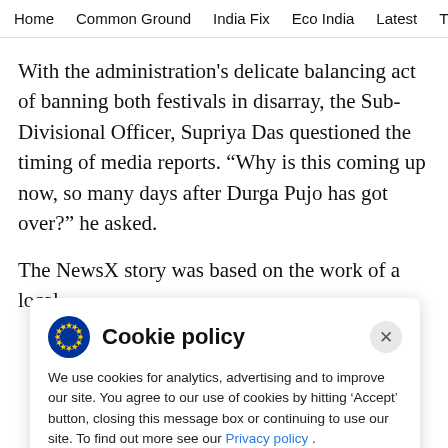Home  Common Ground  India Fix  Eco India  Latest  Th
With the administration's delicate balancing act of banning both festivals in disarray, the Sub-Divisional Officer, Supriya Das questioned the timing of media reports. “Why is this coming up now, so many days after Durga Pujo has got over?” he asked.
The NewsX story was based on the work of a local
Cookie policy
We use cookies for analytics, advertising and to improve our site. You agree to our use of cookies by hitting ‘Accept’ button, closing this message box or continuing to use our site. To find out more see our Privacy policy .
Accept